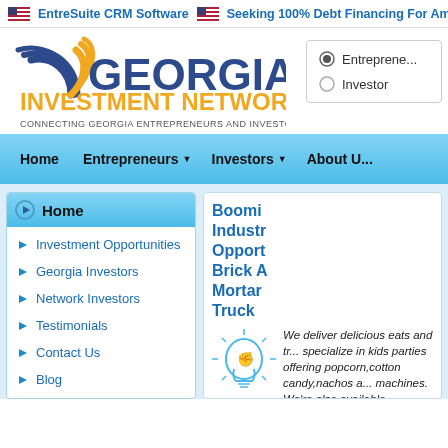EntreSuite CRM Software | Seeking 100% Debt Financing For Amaz...
[Figure (logo): Georgia Investment Network logo with circular swoosh graphic and text 'GEORGIA INVESTMENT NETWORK - CONNECTING GEORGIA ENTREPRENEURS AND INVESTORS']
Entrepreneur (radio selected)
Investor (radio unselected)
Home | Entrepreneurs | Investors | About
Home
Investment Opportunities
Georgia Investors
Network Investors
Testimonials
Contact Us
Blog
Booming Industry Opportunity Brick And Mortar Truck
We deliver delicious eats and tr... specialize in kids parties offering popcorn,cotton candy,nachos a... machines. We're also available ... ... milli... achi...